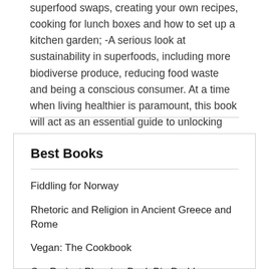superfood swaps, creating your own recipes, cooking for lunch boxes and how to set up a kitchen garden; -A serious look at sustainability in superfoods, including more biodiverse produce, reducing food waste and being a conscious consumer. At a time when living healthier is paramount, this book will act as an essential guide to unlocking the very best attributes of your food.
Best Books
Fiddling for Norway
Rhetoric and Religion in Ancient Greece and Rome
Vegan: The Cookbook
Car Project Planning Book Big Daddys Speedshop